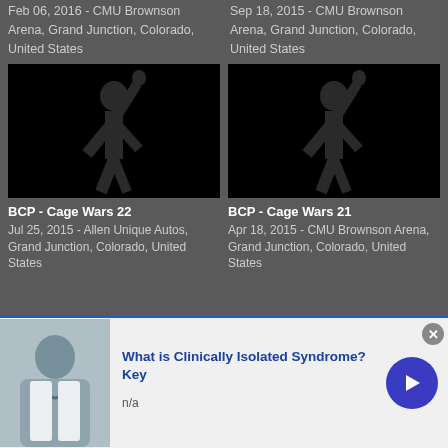Feb 06, 2016 - CMU Brownson Arena, Grand Junction, Colorado, United States
Sep 18, 2015 - CMU Brownson Arena, Grand Junction, Colorado, United States
[Figure (photo): Dark silhouette of a fighter with arm raised on black background]
[Figure (photo): Dark silhouette of a fighter with arm raised on black background]
BCP - Cage Wars 22
Jul 25, 2015 - Allen Unique Autos, Grand Junction, Colorado, United States
BCP - Cage Wars 21
Apr 18, 2015 - CMU Brownson Arena, Grand Junction, Colorado, United States
[Figure (infographic): infolinks banner ad overlay with What is Clinically Isolated Syndrome? Key headline, n/a subtext, doctor photo, and blue arrow button]